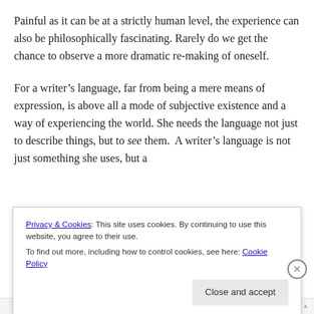Painful as it can be at a strictly human level, the experience can also be philosophically fascinating. Rarely do we get the chance to observe a more dramatic re-making of oneself.
For a writer’s language, far from being a mere means of expression, is above all a mode of subjective existence and a way of experiencing the world. She needs the language not just to describe things, but to see them.  A writer’s language is not just something she uses, but a
Privacy & Cookies: This site uses cookies. By continuing to use this website, you agree to their use.
To find out more, including how to control cookies, see here: Cookie Policy
Close and accept